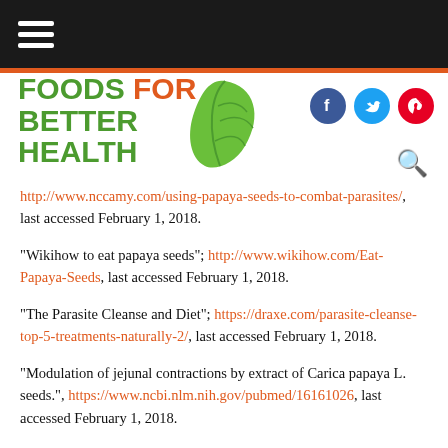Foods For Better Health — navigation bar
[Figure (logo): Foods For Better Health logo with green leaf icon]
http://www.nccamy.com/using-papaya-seeds-to-combat-parasites/, last accessed February 1, 2018.
"Wikihow to eat papaya seeds"; http://www.wikihow.com/Eat-Papaya-Seeds, last accessed February 1, 2018.
"The Parasite Cleanse and Diet"; https://draxe.com/parasite-cleanse-top-5-treatments-naturally-2/, last accessed February 1, 2018.
"Modulation of jejunal contractions by extract of Carica papaya L. seeds.", https://www.ncbi.nlm.nih.gov/pubmed/16161026, last accessed February 1, 2018.
"In Vivo Antiprotozoal Activity of the Chloroform Extract from Carica